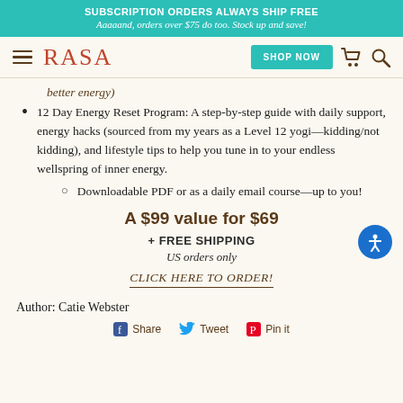SUBSCRIPTION ORDERS ALWAYS SHIP FREE
Aaaaand, orders over $75 do too. Stock up and save!
better energy)
12 Day Energy Reset Program: A step-by-step guide with daily support, energy hacks (sourced from my years as a Level 12 yogi—kidding/not kidding), and lifestyle tips to help you tune in to your endless wellspring of inner energy.
Downloadable PDF or as a daily email course—up to you!
A $99 value for $69
+ FREE SHIPPING
US orders only
CLICK HERE TO ORDER!
Author: Catie Webster